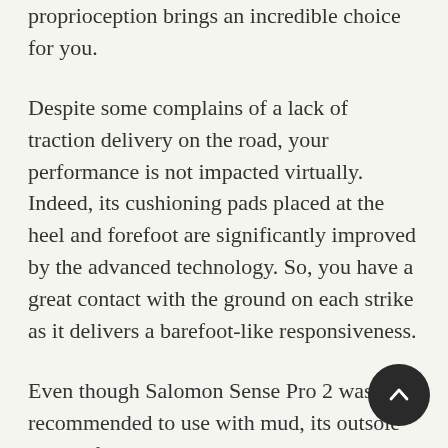proprioception brings an incredible choice for you.
Despite some complains of a lack of traction delivery on the road, your performance is not impacted virtually. Indeed, its cushioning pads placed at the heel and forefoot are significantly improved by the advanced technology. So, you have a great contact with the ground on each strike as it delivers a barefoot-like responsiveness.
Even though Salomon Sense Pro 2 was not recommended to use with mud, its outsole made of sticky rubber was minimally lugged, letting it to works pretty well on rocks. As a matter of fact, road runners that like its' firm